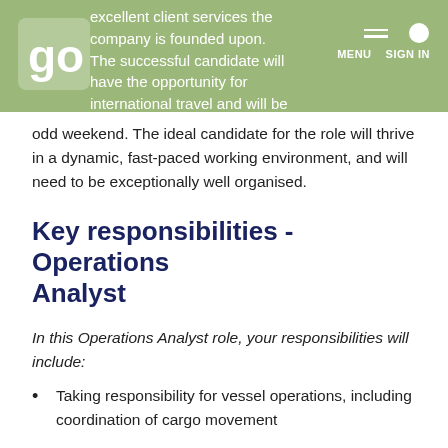excellent client services the company is founded upon. The successful candidate will have the opportunity for international travel and will be expected to work the odd weekend. The ideal candidate for the role will thrive in a dynamic, fast-paced working environment, and will need to be exceptionally well organised.
odd weekend. The ideal candidate for the role will thrive in a dynamic, fast-paced working environment, and will need to be exceptionally well organised.
Key responsibilities - Operations Analyst
In this Operations Analyst role, your responsibilities will include:
Taking responsibility for vessel operations, including coordination of cargo movement
Regularly interacting with domestic and international clients ensuring all requirements